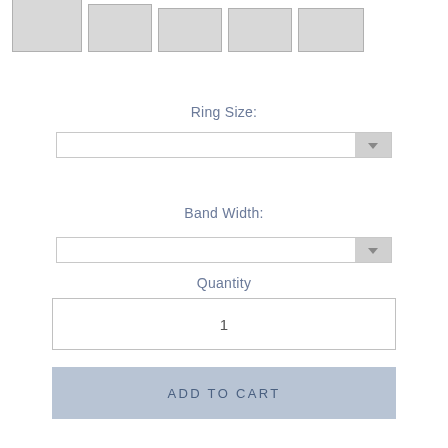[Figure (screenshot): Row of five gray thumbnail image placeholders at top of page]
Ring Size:
[Figure (screenshot): Dropdown select field for Ring Size with gray arrow button on right]
Band Width:
[Figure (screenshot): Dropdown select field for Band Width with gray arrow button on right]
Quantity
[Figure (screenshot): Quantity input box showing value 1]
[Figure (screenshot): ADD TO CART button with light blue-gray background]